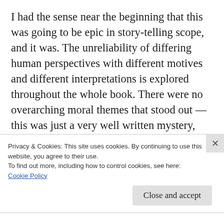I had the sense near the beginning that this was going to be epic in story-telling scope, and it was. The unreliability of differing human perspectives with different motives and different interpretations is explored throughout the whole book. There were no overarching moral themes that stood out — this was just a very well written mystery, with dozens of twists and turns, and the the truth from the past unfolded the deeper you go. The
Privacy & Cookies: This site uses cookies. By continuing to use this website, you agree to their use.
To find out more, including how to control cookies, see here: Cookie Policy
Close and accept